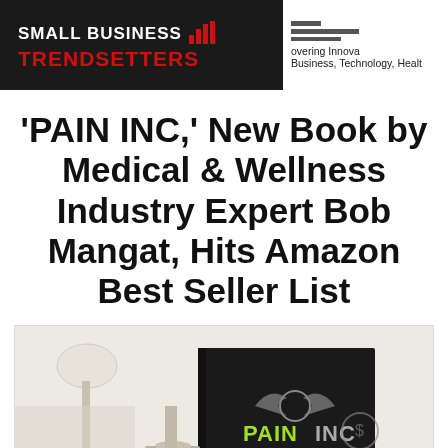SMALL BUSINESS TRENDSETTERS | Discovering Innovation in Business, Technology, Health
'PAIN INC,' New Book by Medical & Wellness Industry Expert Bob Mangat, Hits Amazon Best Seller List
[Figure (photo): Photo of the PAIN INC book displayed on a desk with a lamp and other objects in the background. The book has a dark cover with the PAIN INC logo in green and silver.]